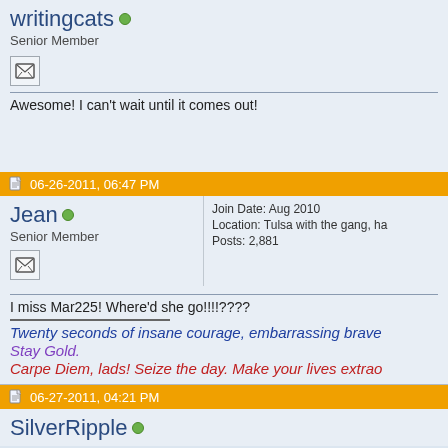writingcats
Senior Member
Awesome! I can't wait until it comes out!
06-26-2011, 06:47 PM
Jean
Senior Member
Join Date: Aug 2010
Location: Tulsa with the gang, ha
Posts: 2,881
I miss Mar225! Where'd she go!!!!????
Twenty seconds of insane courage, embarrassing brave
Stay Gold.
Carpe Diem, lads! Seize the day. Make your lives extrao
06-27-2011, 04:21 PM
SilverRipple